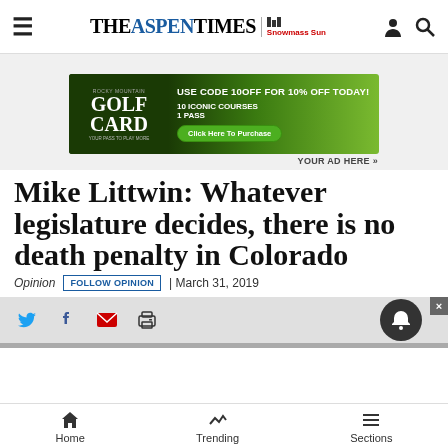THE ASPEN TIMES | Snowmass Sun
[Figure (photo): Rocky Mountain Golf Card advertisement banner: 'USE CODE 10OFF FOR 10% OFF TODAY! 10 ICONIC COURSES 1 PASS. Click Here To Purchase.']
YOUR AD HERE »
Mike Littwin: Whatever legislature decides, there is no death penalty in Colorado
Opinion | FOLLOW OPINION | March 31, 2019
Home | Trending | Sections